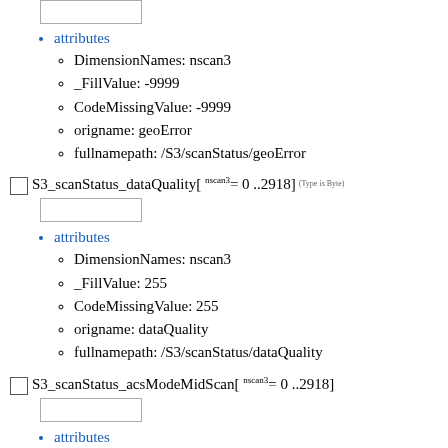S3_scanStatus_dataQuality[ nscan3= 0 ..2918] (Type is Byte)
attributes
DimensionNames: nscan3
_FillValue: 255
CodeMissingValue: 255
origname: dataQuality
fullnamepath: /S3/scanStatus/dataQuality
S3_scanStatus_acsModeMidScan[ nscan3= 0 ..2918]
attributes
DimensionNames: nscan3
_FillValue: -99
CodeMissingValue: -99
origname: acsModeMidScan
fullnamepath: /S3/scanStatus/acsModeMidScan